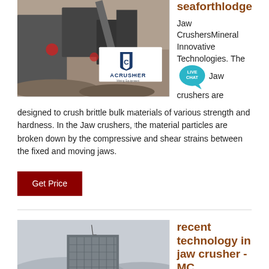seaforthlodge
[Figure (photo): Industrial jaw crusher machine with ACRUSHER Mining Equipment logo overlay]
Jaw CrushersMineral Innovative Technologies. The Jaw crushers are designed to crush brittle bulk materials of various strength and hardness. In the Jaw crushers, the material particles are broken down by the compressive and shear strains between the fixed and moving jaws.
Get Price
recent technology in jaw crusher - MC World.INC
[Figure (photo): Modern multi-story building with glass facade against a grey sky]